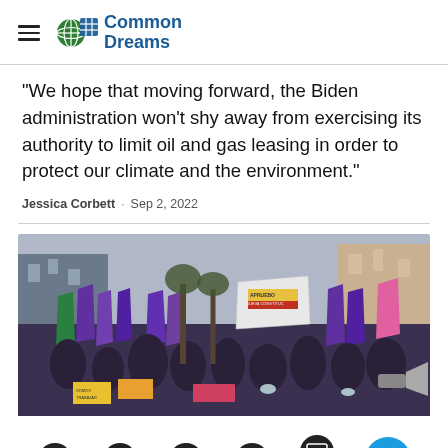Common Dreams
"We hope that moving forward, the Biden administration won't shy away from exercising its authority to limit oil and gas leasing in order to protect our climate and the environment."
Jessica Corbett · Sep 2, 2022
[Figure (photo): Protest crowd carrying purple flags and banners, including one reading 'Apruebo Nueva Constitucion', on a city street. Demonstrators hold signs and a megaphone is visible on the right.]
Social share icons: Facebook, Twitter, Email, Link, Comments (14), Give